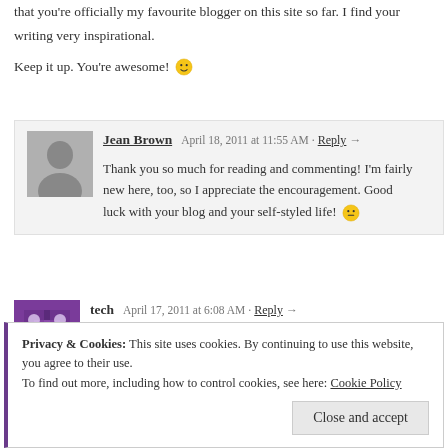that you're officially my favourite blogger on this site so far. I find your writing very inspirational.
Keep it up. You're awesome! 😀
Jean Brown  April 18, 2011 at 11:55 AM · Reply → Thank you so much for reading and commenting! I'm fairly new here, too, so I appreciate the encouragement. Good luck with your blog and your self-styled life! 😐
tech  April 17, 2011 at 6:08 AM · Reply → hey babe ....love it
Privacy & Cookies: This site uses cookies. By continuing to use this website, you agree to their use. To find out more, including how to control cookies, see here: Cookie Policy. Close and accept